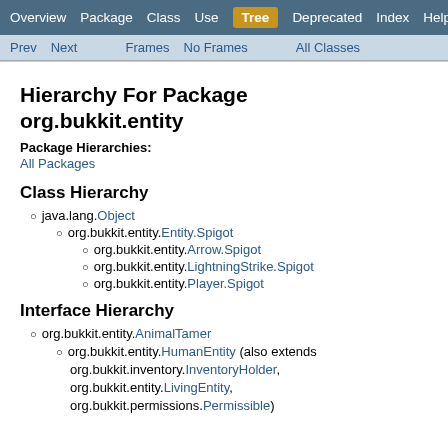Overview  Package  Class  Use  Tree  Deprecated  Index  Help
Prev  Next  Frames  No Frames  All Classes
Hierarchy For Package org.bukkit.entity
Package Hierarchies:
All Packages
Class Hierarchy
java.lang.Object
org.bukkit.entity.Entity.Spigot
org.bukkit.entity.Arrow.Spigot
org.bukkit.entity.LightningStrike.Spigot
org.bukkit.entity.Player.Spigot
Interface Hierarchy
org.bukkit.entity.AnimalTamer
org.bukkit.entity.HumanEntity (also extends org.bukkit.inventory.InventoryHolder, org.bukkit.entity.LivingEntity, org.bukkit.permissions.Permissible)